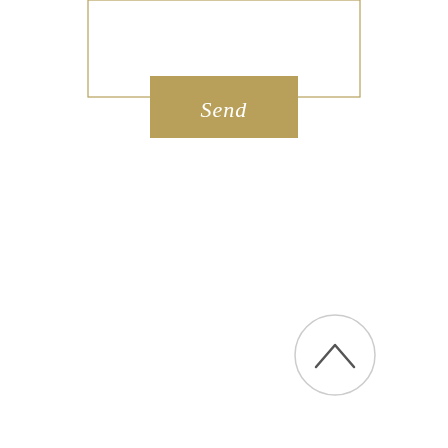[Figure (screenshot): A UI screenshot showing a form input area with a gold border rectangle (text input field), a gold-colored 'Send' button with script font text, and a circular back-to-top button with a chevron/caret icon in the lower right area.]